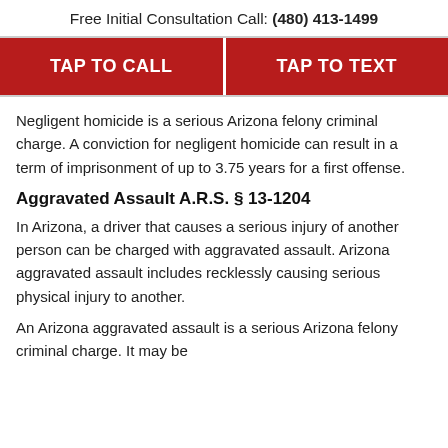Free Initial Consultation Call: (480) 413-1499
[Figure (other): Two red call-to-action buttons: TAP TO CALL and TAP TO TEXT]
Negligent homicide is a serious Arizona felony criminal charge. A conviction for negligent homicide can result in a term of imprisonment of up to 3.75 years for a first offense.
Aggravated Assault A.R.S. § 13-1204
In Arizona, a driver that causes a serious injury of another person can be charged with aggravated assault. Arizona aggravated assault includes recklessly causing serious physical injury to another.
An Arizona aggravated assault is a serious Arizona felony criminal charge. It may be